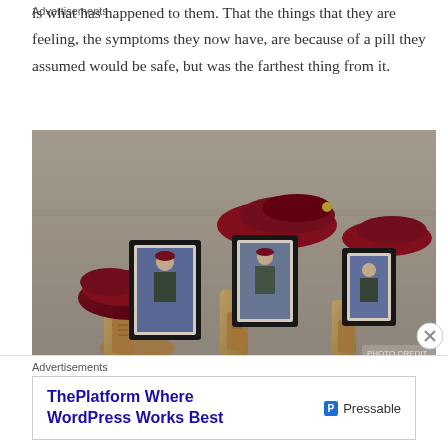is what has happened to them. That the things that they are feeling, the symptoms they now have, are because of a pill they assumed would be safe, but was the farthest thing from it.
[Figure (photo): Photograph of military boots and red berets arranged on stone steps alongside framed portrait photographs of soldiers, serving as a memorial tribute.]
Advertisements
ThePlatform Where WordPress Works Best — Pressable